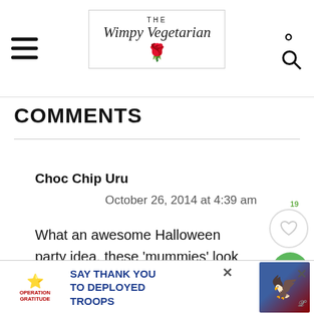THE Wimpy Vegetarian
COMMENTS
Choc Chip Uru
October 26, 2014 at 4:39 am
What an awesome Halloween party idea, these 'mummies' look much more delicious than scary 😆
[Figure (other): Operation Gratitude advertisement banner: SAY THANK YOU TO DEPLOYED TROOPS]
19
239